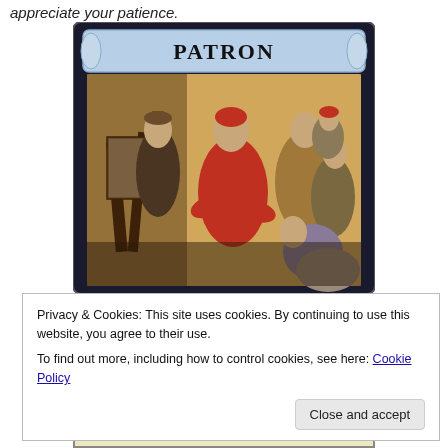appreciate your patience.
[Figure (illustration): A board game card titled 'PATRON' showing a Renaissance-style painting of several figures, including a person in red clothing seated centrally, with others around them including artists and patrons, on a scroll-style card background.]
Privacy & Cookies: This site uses cookies. By continuing to use this website, you agree to their use.
To find out more, including how to control cookies, see here: Cookie Policy
Close and accept
word "reveal"), +1 Coffers.